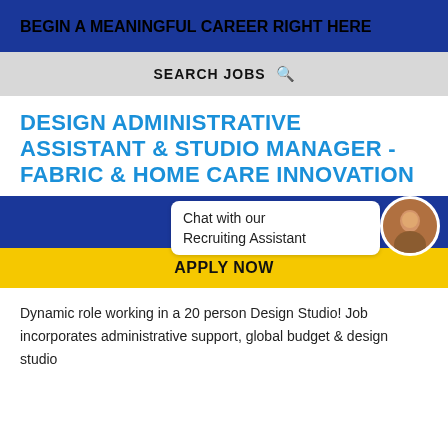BEGIN A MEANINGFUL CAREER RIGHT HERE
SEARCH JOBS
DESIGN ADMINISTRATIVE ASSISTANT & STUDIO MANAGER - FABRIC & HOME CARE INNOVATION
♥ SAVE JOB
Chat with our Recruiting Assistant
APPLY NOW
Dynamic role working in a 20 person Design Studio! Job incorporates administrative support, global budget & design studio